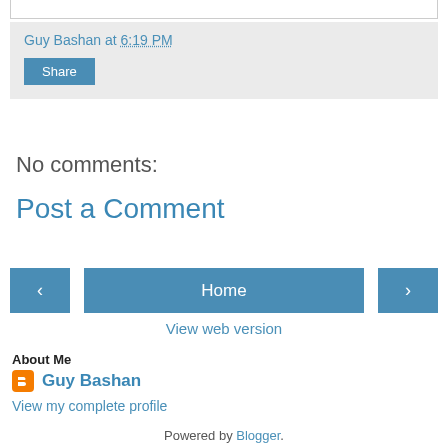Guy Bashan at 6:19 PM
Share
No comments:
Post a Comment
‹  Home  ›
View web version
About Me
Guy Bashan
View my complete profile
Powered by Blogger.